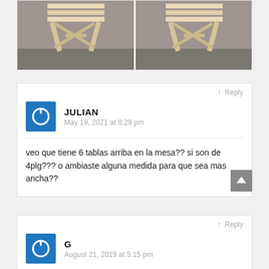[Figure (photo): Two photos side by side showing a wooden folding table/bench from the back, made of light pine wood, on a concrete floor.]
↑ Reply
JULIAN
May 19, 2021 at 8:29 pm
veo que tiene 6 tablas arriba en la mesa?? si son de 4plg??? o ambiaste alguna medida para que sea mas ancha??
↑ Reply
G
August 21, 2019 at 5:15 pm